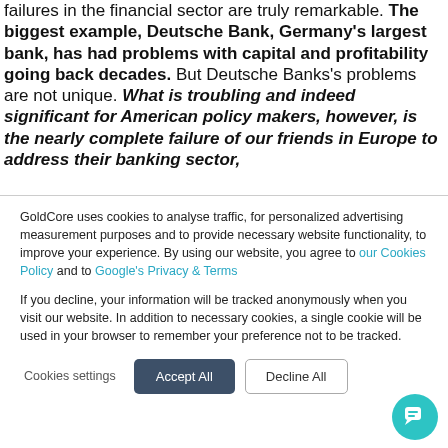failures in the financial sector are truly remarkable. The biggest example, Deutsche Bank, Germany's largest bank, has had problems with capital and profitability going back decades. But Deutsche Banks's problems are not unique. What is troubling and indeed significant for American policy makers, however, is the nearly complete failure of our friends in Europe to address their banking sector,
GoldCore uses cookies to analyse traffic, for personalized advertising measurement purposes and to provide necessary website functionality, to improve your experience. By using our website, you agree to our Cookies Policy and to Google's Privacy & Terms
If you decline, your information will be tracked anonymously when you visit our website. In addition to necessary cookies, a single cookie will be used in your browser to remember your preference not to be tracked.